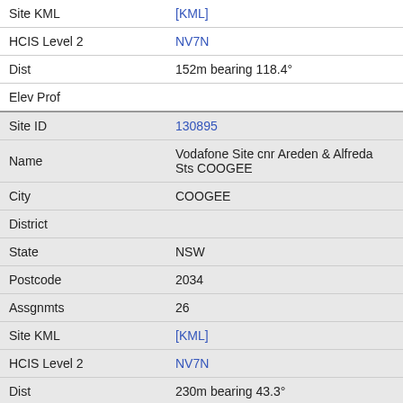| Field | Value |
| --- | --- |
| Site KML | [KML] |
| HCIS Level 2 | NV7N |
| Dist | 152m bearing 118.4° |
| Elev Prof |  |
| Site ID | 130895 |
| Name | Vodafone Site cnr Areden & Alfreda Sts COOGEE |
| City | COOGEE |
| District |  |
| State | NSW |
| Postcode | 2034 |
| Assgnmts | 26 |
| Site KML | [KML] |
| HCIS Level 2 | NV7N |
| Dist | 230m bearing 43.3° |
| Elev Prof | Elevation Profile |
| Site ID | 201232 |
| Name | Surfside Backpackers cnr Arden & Alfreda St |